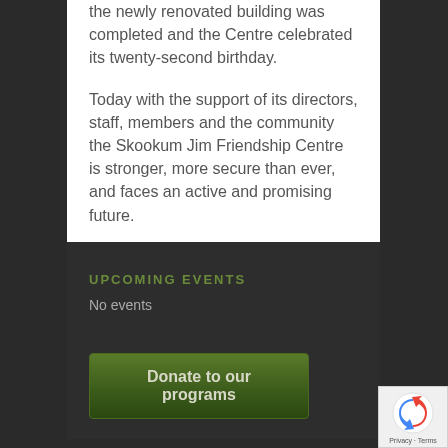the newly renovated building was completed and the Centre celebrated its twenty-second birthday.
Today with the support of its directors, staff, members and the community the Skookum Jim Friendship Centre is stronger, more secure than ever, and faces an active and promising future.
UPCOMING EVENTS
No events
Donate to our programs
[Figure (logo): reCAPTCHA logo with Privacy and Terms links]